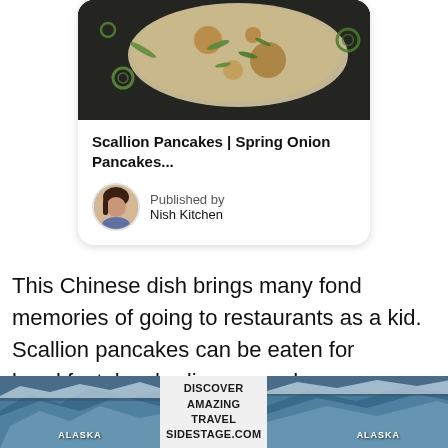[Figure (photo): Photo of scallion pancakes on dark background, showing green onion pieces scattered around]
Scallion Pancakes | Spring Onion Pancakes...
Published by
Nish Kitchen
This Chinese dish brings many fond memories of going to restaurants as a kid.  Scallion pancakes can be eaten for breakfast, lunch, dinner, or whenever you feel like it.
[Figure (photo): Advertisement banner for Alaska travel - Discover Amazing Travel SideStage.com]